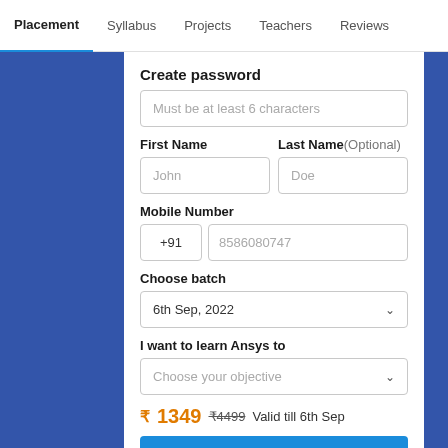Placement | Syllabus | Projects | Teachers | Reviews
Create password
Must be at least 6 characters
First Name
Last Name (Optional)
Mobile Number
+91  8586080747
Choose batch
6th Sep, 2022
I want to learn Ansys to
Choose your objective
₹1349  ₹4499  Valid till 6th Sep
Enroll Now